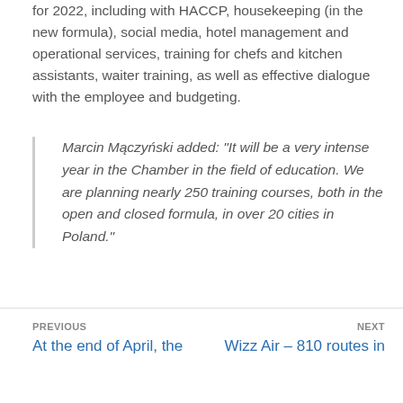for 2022, including[...] with HACCP, housekeeping (in the new formula), social media, hotel management and operational services, training for chefs and kitchen assistants, waiter training, as well as effective dialogue with the employee and budgeting.
Marcin Mączyński added: “It will be a very intense year in the Chamber in the field of education. We are planning nearly 250 training courses, both in the open and closed formula, in over 20 cities in Poland.”
PREVIOUS: At the end of April, the | NEXT: Wizz Air – 810 routes in